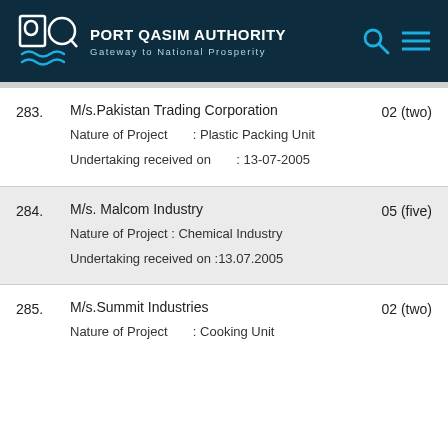PORT QASIM AUTHORITY
Gateway to National Prosperity
283. M/s.Pakistan Trading Corporation  02 (two)
Nature of Project : Plastic Packing Unit
Undertaking received on : 13-07-2005
284. M/s. Malcom Industry  05 (five)
Nature of Project : Chemical Industry
Undertaking received on :13.07.2005
285. M/s.Summit Industries  02 (two)
Nature of Project : Cooking Unit